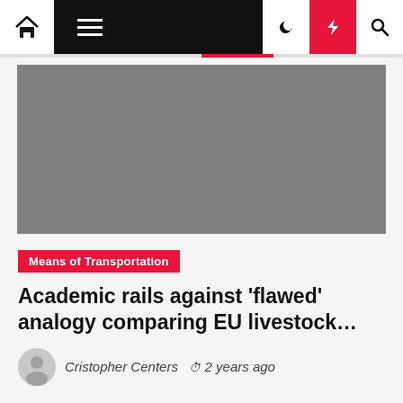Navigation bar with home, menu, moon, lightning, and search icons
[Figure (photo): Large gray placeholder hero image for article]
Means of Transportation
Academic rails against ‘flawed’ analogy comparing EU livestock…
Cristopher Centers  2 years ago